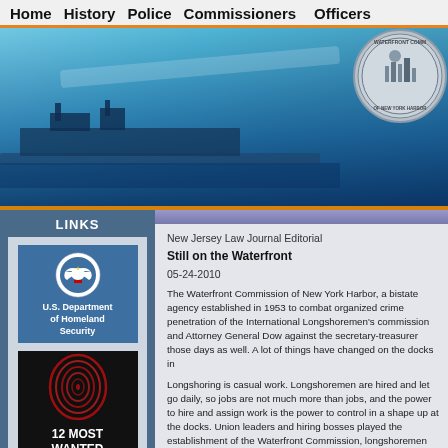Home  History  Police  Commissioners  Officers
[Figure (screenshot): Waterfront Commission of New York Harbor website header banner with ship and official seal]
LINKS
[Figure (logo): U.S. Department of Homeland Security seal/logo link box]
[Figure (illustration): 12 Most Wanted fingerprint graphic link box]
New Jersey Law Journal Editorial
Still on the Waterfront
05-24-2010
The Waterfront Commission of New York Harbor, a bistate agency established in 1953 to combat organized crime penetration of the International Longshoremen's commission and Attorney General Dow against the secretary-treasurer those days as well. A lot of things have changed on the docks in
Longshoring is casual work. Longshoremen are hired and let go daily, so jobs are not much more than jobs, and the power to hire and assign work is the power to control in a shape up at the docks. Union leaders and hiring bosses played the establishment of the Waterfront Commission, longshoremen out work on the basis of seniority, but which can also be abused historic pattern of extorting payment for favorable work assignm
Last year the commission was itself the subject of corruption and fired. At that time, questions were raised whether the agency had